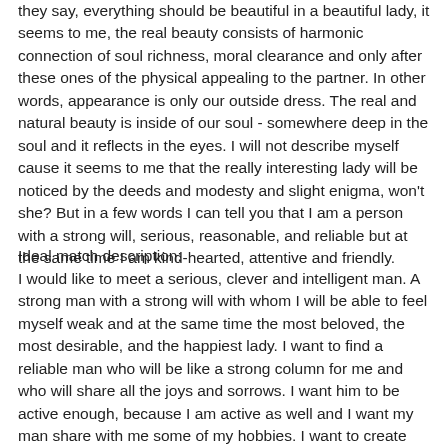they say, everything should be beautiful in a beautiful lady, it seems to me, the real beauty consists of harmonic connection of soul richness, moral clearance and only after these ones of the physical appealing to the partner. In other words, appearance is only our outside dress. The real and natural beauty is inside of our soul - somewhere deep in the soul and it reflects in the eyes. I will not describe myself cause it seems to me that the really interesting lady will be noticed by the deeds and modesty and slight enigma, won't she? But in a few words I can tell you that I am a person with a strong will, serious, reasonable, and reliable but at the same time I am kind-hearted, attentive and friendly.
Ideal match description:
I would like to meet a serious, clever and intelligent man. A strong man with a strong will with whom I will be able to feel myself weak and at the same time the most beloved, the most desirable, and the happiest lady. I want to find a reliable man who will be like a strong column for me and who will share all the joys and sorrows. I want him to be active enough, because I am active as well and I want my man share with me some of my hobbies. I want to create with him our small world full of trust, mutual understanding and of course love. I am ready to tie my life exactly with such man and to